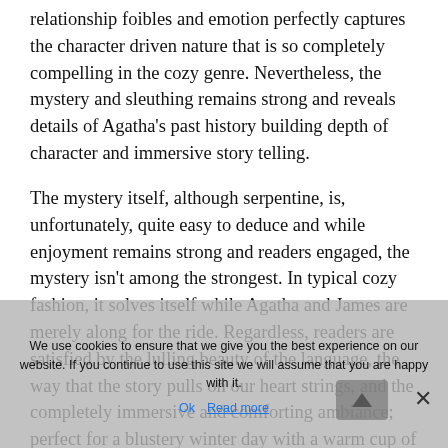relationship foibles and emotion perfectly captures the character driven nature that is so completely compelling in the cozy genre. Nevertheless, the mystery and sleuthing remains strong and reveals details of Agatha's past history building depth of character and immersive story telling.

The mystery itself, although serpentine, is, unfortunately, quite easy to deduce and while enjoyment remains strong and readers engaged, the mystery isn't among the strongest. In typical cozy fashion, it solves itself while Agatha and James are merely along for the ride. Regardless, readers are satisfied by the lulling beauty of the language, the way that the story pulls on our heart strings, and the completely immersive and comforting ambiance; perfect for a blustery winter day with a warm cup of coffee.

The audio book edition, read by Donada Peters is simply a must, her tone not only capturing our lovable but fractious Agatha, but embodying her
We use cookies to ensure that we give you the best experience on our website. If you continue to use this site we will assume that you are happy with it.